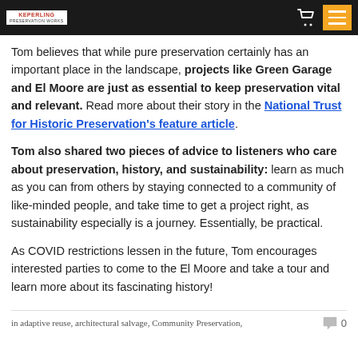KEPERLING [logo] navigation header with cart and menu icons
Tom believes that while pure preservation certainly has an important place in the landscape, projects like Green Garage and El Moore are just as essential to keep preservation vital and relevant. Read more about their story in the National Trust for Historic Preservation's feature article.
Tom also shared two pieces of advice to listeners who care about preservation, history, and sustainability: learn as much as you can from others by staying connected to a community of like-minded people, and take time to get a project right, as sustainability especially is a journey. Essentially, be practical.
As COVID restrictions lessen in the future, Tom encourages interested parties to come to the El Moore and take a tour and learn more about its fascinating history!
in adaptive reuse, architectural salvage, Community Preservation,  0